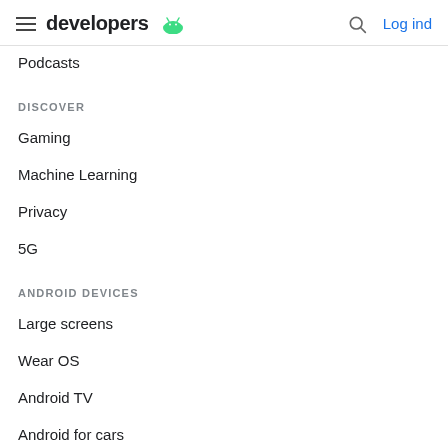developers | Log ind
Podcasts
DISCOVER
Gaming
Machine Learning
Privacy
5G
ANDROID DEVICES
Large screens
Wear OS
Android TV
Android for cars
Android Things